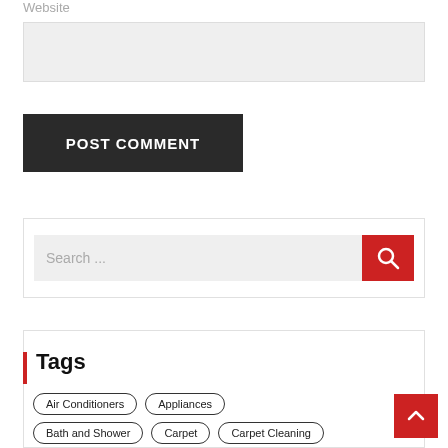Website
[Figure (screenshot): Light gray text input area for website field]
POST COMMENT
[Figure (screenshot): Search bar with gray input field and red search button with magnifying glass icon]
Tags
Air Conditioners
Appliances
Bath and Shower
Carpet
Carpet Cleaning